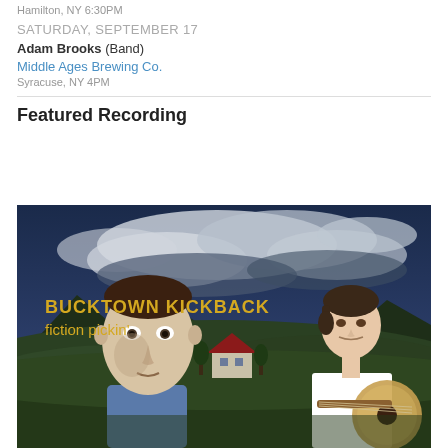Hamilton, NY 6:30PM
SATURDAY, SEPTEMBER 17
Adam Brooks (Band)
Middle Ages Brewing Co.
Syracuse, NY 4PM
Featured Recording
[Figure (illustration): Album cover for Bucktown Kickback 'fiction pickin'' showing a painted illustration of two figures — a man in foreground with a pale elongated face and blue shirt, and a woman in white dress playing banjo, set against a dramatic stormy sky with rolling hills and a red-roofed cottage. Yellow text in upper left reads 'BUCKTOWN KICKBACK' and 'fiction pickin'.']